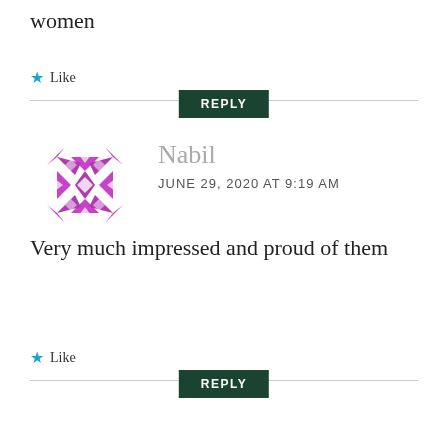women
★ Like
REPLY
[Figure (illustration): Purple geometric snowflake-like avatar icon for user Nabil]
Nabil
JUNE 29, 2020 AT 9:19 AM
Very much impressed and proud of them
★ Like
REPLY